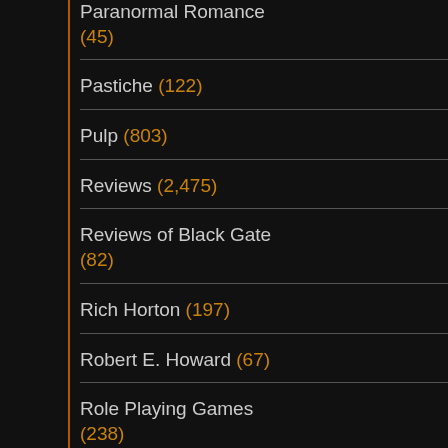Paranormal Romance (45)
Pastiche (122)
Pulp (803)
Reviews (2,475)
Reviews of Black Gate (82)
Rich Horton (197)
Robert E. Howard (67)
Role Playing Games (238)
Series Fantasy (1,339)
Solitaire Games (36)